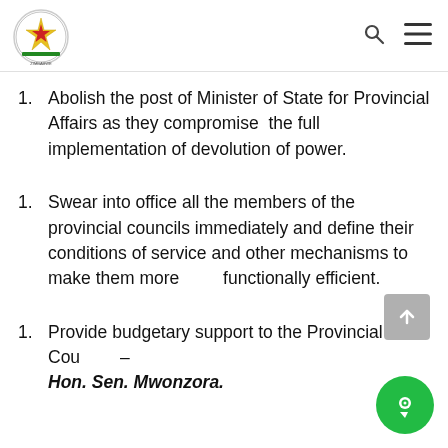Parliament of Zimbabwe header with logo, search and menu icons
Abolish the post of Minister of State for Provincial Affairs as they compromise the full implementation of devolution of power.
Swear into office all the members of the provincial councils immediately and define their conditions of service and other mechanisms to make them more functionally efficient.
Provide budgetary support to the Provincial Cou[ncils] – Hon. Sen. Mwonzora.